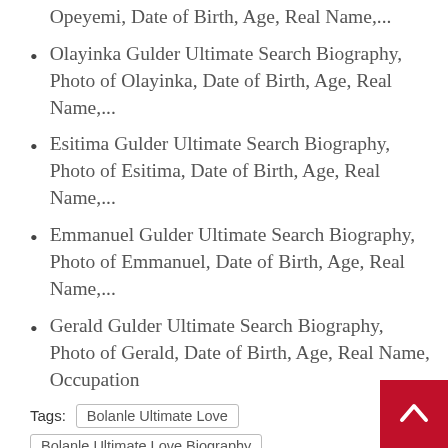Opeyemi, Date of Birth, Age, Real Name,...
Olayinka Gulder Ultimate Search Biography, Photo of Olayinka, Date of Birth, Age, Real Name,...
Esitima Gulder Ultimate Search Biography, Photo of Esitima, Date of Birth, Age, Real Name,...
Emmanuel Gulder Ultimate Search Biography, Photo of Emmanuel, Date of Birth, Age, Real Name,...
Gerald Gulder Ultimate Search Biography, Photo of Gerald, Date of Birth, Age, Real Name, Occupation
Tags: Bolanle Ultimate Love  Bolanle Ultimate Love Biography
Previous
Ultimate Love Week 4 Session with Aunty
Next
Arnold Ultimate Biography, Age, Pictures, and Occupation